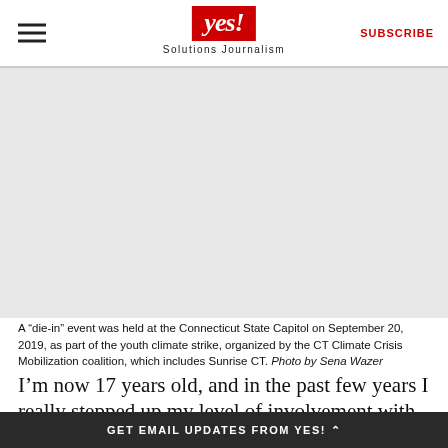yes! Solutions Journalism | SUBSCRIBE
[Figure (photo): A die-in event at the Connecticut State Capitol on September 20, 2019, youth climate strike organized by CT Climate Crisis Mobilization coalition including Sunrise CT. Image area appears blank/white in this rendering.]
A “die-in” event was held at the Connecticut State Capitol on September 20, 2019, as part of the youth climate strike, organized by the CT Climate Crisis Mobilization coalition, which includes Sunrise CT. Photo by Sena Wazer
I’m now 17 years old, and in the past few years I really stepped up my level of involvement with
GET EMAIL UPDATES FROM YES!